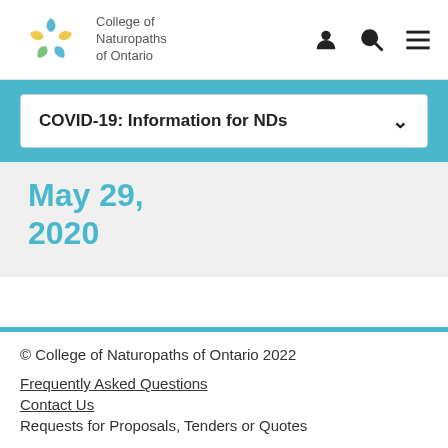[Figure (logo): College of Naturopaths of Ontario logo with colorful ginkgo leaf petals (blue, yellow, green) arranged in a circle, with organization name to the right]
COVID-19: Information for NDs
May 29, 2020
© College of Naturopaths of Ontario 2022
Frequently Asked Questions
Contact Us
Requests for Proposals, Tenders or Quotes